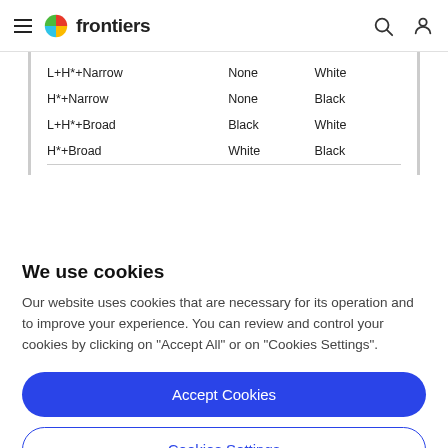frontiers
| L+H*+Narrow | None | White |
| H*+Narrow | None | Black |
| L+H*+Broad | Black | White |
| H*+Broad | White | Black |
We use cookies
Our website uses cookies that are necessary for its operation and to improve your experience. You can review and control your cookies by clicking on "Accept All" or on "Cookies Settings".
Accept Cookies
Cookies Settings